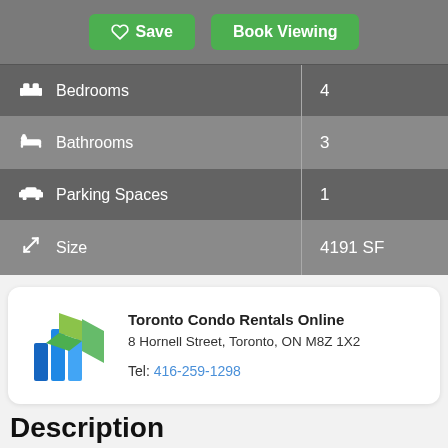[Figure (screenshot): Top bar with Save and Book Viewing buttons on grey background]
| Property Feature | Value |
| --- | --- |
| Bedrooms | 4 |
| Bathrooms | 3 |
| Parking Spaces | 1 |
| Size | 4191 SF |
[Figure (logo): Toronto Condo Rentals Online logo with blue and green building shapes]
Toronto Condo Rentals Online
8 Hornell Street, Toronto, ON M8Z 1X2
Tel: 416-259-1298
Description